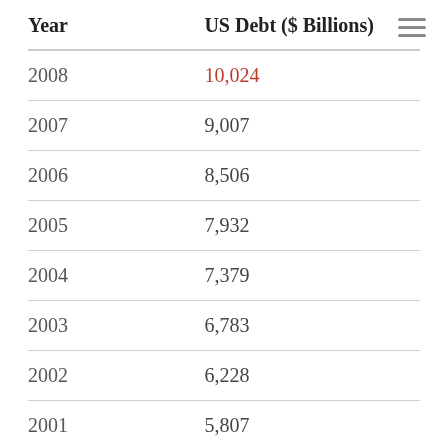| Year | US Debt ($ Billions) |
| --- | --- |
| 2008 | 10,024 |
| 2007 | 9,007 |
| 2006 | 8,506 |
| 2005 | 7,932 |
| 2004 | 7,379 |
| 2003 | 6,783 |
| 2002 | 6,228 |
| 2001 | 5,807 |
| 2000 | 5,674 |
| 1999 | 5,656 |